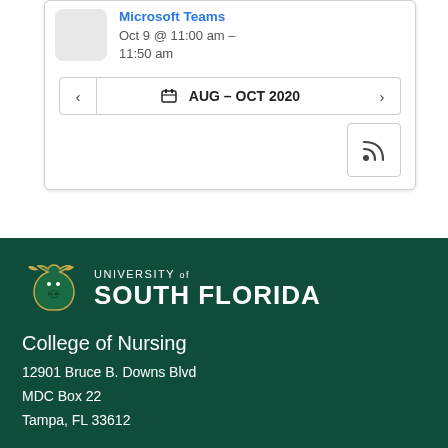[Figure (screenshot): Calendar widget showing a Microsoft Teams event on Oct 9 @ 11:00 am – 11:50 am, with navigation showing AUG – OCT 2020 and an RSS feed button]
[Figure (logo): University of South Florida logo with USF bull mascot icon and text 'UNIVERSITY of SOUTH FLORIDA']
College of Nursing
12901 Bruce B. Downs Blvd
MDC Box 22
Tampa, FL 33612